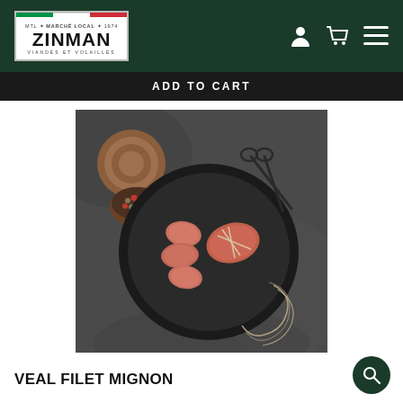[Figure (logo): Zinman Marché Local logo with Italian flag stripe at top, white background with border, text: MTL MARCHÉ LOCAL 1974 / ZINMAN / VIANDES ET VOLAILLES]
ADD TO CART
[Figure (photo): Top-down photo of veal filet mignon cuts on a round black plate, with a wooden board with peppercorns, scissors, and twine on a dark stone surface]
VEAL FILET MIGNON